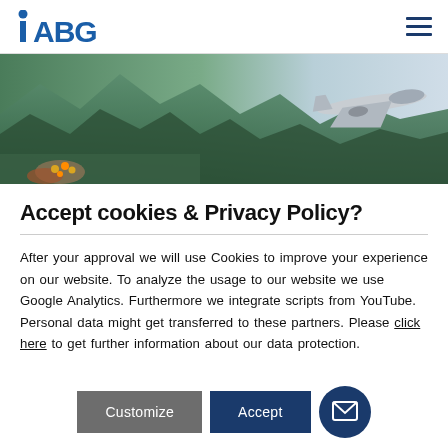iABG — navigation header with logo and hamburger menu
[Figure (photo): Hero banner image showing aerial mountain landscape on the left and a military jet aircraft on the right against a sky background]
Accept cookies & Privacy Policy?
After your approval we will use Cookies to improve your experience on our website. To analyze the usage to our website we use Google Analytics. Furthermore we integrate scripts from YouTube. Personal data might get transferred to these partners. Please click here to get further information about our data protection.
Customize   Accept